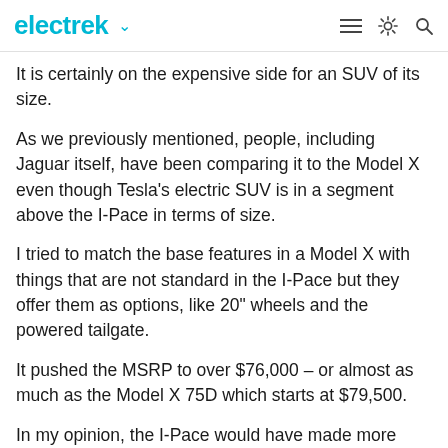electrek
It is certainly on the expensive side for an SUV of its size.
As we previously mentioned, people, including Jaguar itself, have been comparing it to the Model X even though Tesla's electric SUV is in a segment above the I-Pace in terms of size.
I tried to match the base features in a Model X with things that are not standard in the I-Pace but they offer them as options, like 20" wheels and the powered tailgate.
It pushed the MSRP to over $76,000 – or almost as much as the Model X 75D which starts at $79,500.
In my opinion, the I-Pace would have made more sense if it was priced a little cheaper, but I still think that it's going to be successful since there is simply no other option for an electric SUV of that size.